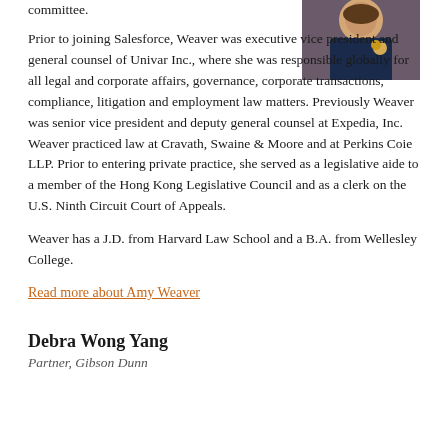committee.
[Figure (photo): Photo of Amy Weaver, woman in dark top with gold necklace]
Prior to joining Salesforce, Weaver was executive vice president and general counsel of Univar Inc., where she was responsible globally for all legal and corporate affairs, governance, corporate transactions, compliance, litigation and employment law matters. Previously Weaver was senior vice president and deputy general counsel at Expedia, Inc. Weaver practiced law at Cravath, Swaine & Moore and at Perkins Coie LLP. Prior to entering private practice, she served as a legislative aide to a member of the Hong Kong Legislative Council and as a clerk on the U.S. Ninth Circuit Court of Appeals.
Weaver has a J.D. from Harvard Law School and a B.A. from Wellesley College.
Read more about Amy Weaver
Debra Wong Yang
Partner, Gibson Dunn